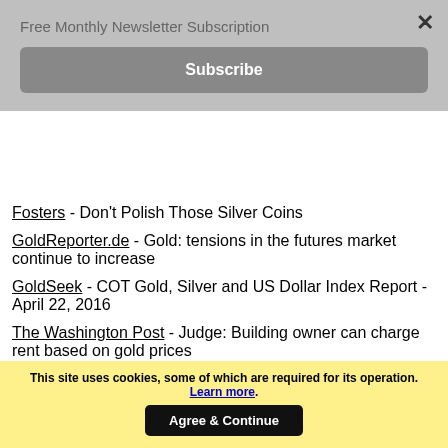Free Monthly Newsletter Subscription
Subscribe
Fosters - Don't Polish Those Silver Coins
GoldReporter.de - Gold: tensions in the futures market continue to increase
GoldSeek - COT Gold, Silver and US Dollar Index Report - April 22, 2016
The Washington Post - Judge: Building owner can charge rent based on gold prices
04/22/2016 - Bullion News
This site uses cookies, some of which are required for its operation. Learn more. Agree & Continue